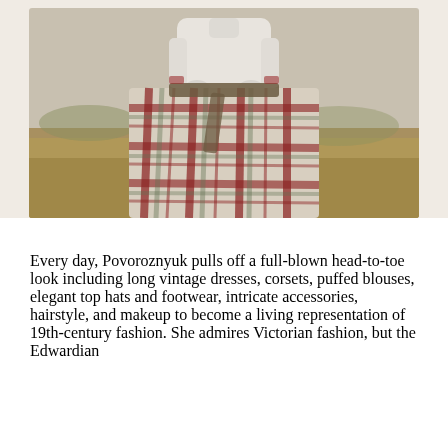[Figure (photo): A person wearing a long plaid/checkered dress with white long-sleeved blouse and white gloves, holding the skirt fabric. Outdoor setting with a field/garden background.]
Every day, Povoroznyuk pulls off a full-blown head-to-toe look including long vintage dresses, corsets, puffed blouses, elegant top hats and footwear, intricate accessories, hairstyle, and makeup to become a living representation of 19th-century fashion. She admires Victorian fashion, but the Edwardian